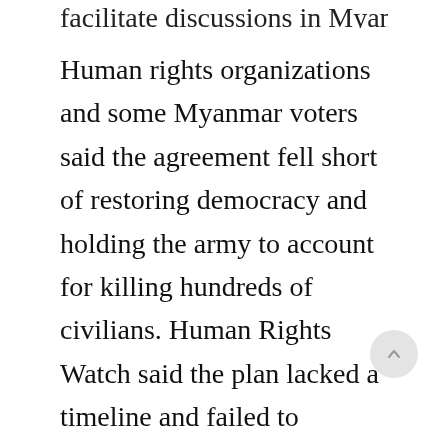facilitate discussions in Myanmar.
Human rights organizations and some Myanmar voters said the agreement fell short of restoring democracy and holding the army to account for killing hundreds of civilians. Human Rights Watch said the plan lacked a timeline and failed to mention the release of political prisoners including Aung San Suu Kyi. It added that representatives of Myanmar's voters were not part of discussions or negotiations.